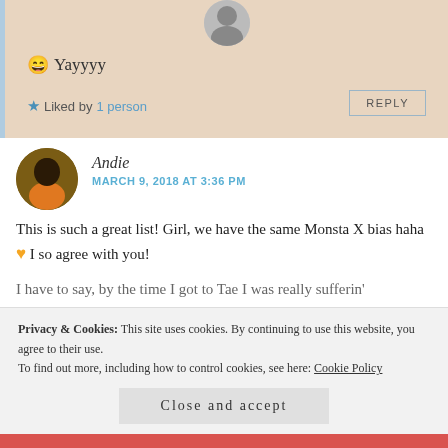[Figure (photo): Circular avatar photo of a person at the top of the comment box]
😄 Yayyyy
★ Liked by 1 person
REPLY
[Figure (photo): Circular avatar photo of Andie, a person in an orange hoodie]
Andie
MARCH 9, 2018 AT 3:36 PM
This is such a great list! Girl, we have the same Monsta X bias haha 💛 I so agree with you!
I have to say, by the time I got to Tae I was really sufferin'
Privacy & Cookies: This site uses cookies. By continuing to use this website, you agree to their use.
To find out more, including how to control cookies, see here: Cookie Policy
Close and accept